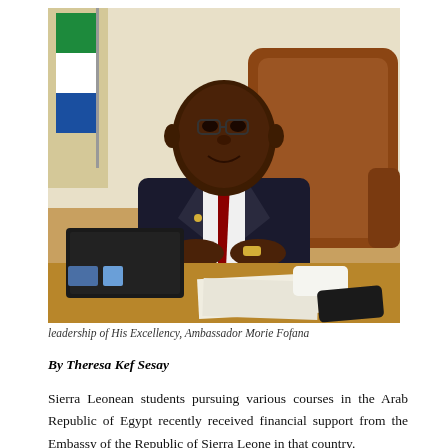[Figure (photo): A man in a dark suit with a red tie sits behind a large wooden desk. A Sierra Leone flag is visible in the background. A brown leather chair is behind him. On the desk are a laptop, papers, and a phone. The setting appears to be an office.]
leadership of His Excellency, Ambassador Morie Fofana
By Theresa Kef Sesay
Sierra Leonean students pursuing various courses in the Arab Republic of Egypt recently received financial support from the Embassy of the Republic of Sierra Leone in that country.